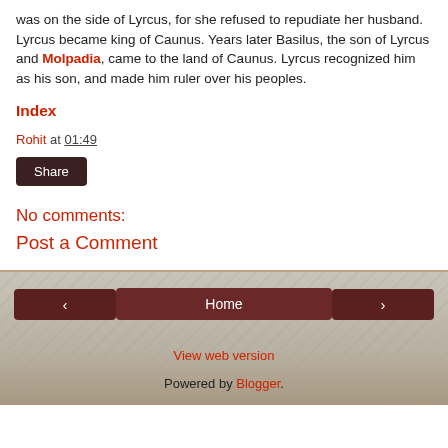was on the side of Lyrcus, for she refused to repudiate her husband. Lyrcus became king of Caunus. Years later Basilus, the son of Lyrcus and Molpadia, came to the land of Caunus. Lyrcus recognized him as his son, and made him ruler over his peoples.
Index
Rohit at 01:49
Share
No comments:
Post a Comment
< Home > View web version Powered by Blogger.